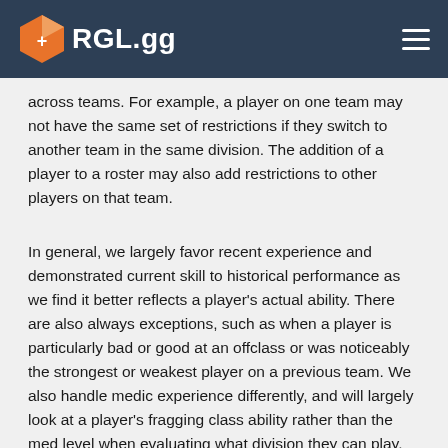RGL.gg
across teams. For example, a player on one team may not have the same set of restrictions if they switch to another team in the same division. The addition of a player to a roster may also add restrictions to other players on that team.
In general, we largely favor recent experience and demonstrated current skill to historical performance as we find it better reflects a player’s actual ability. There are also always exceptions, such as when a player is particularly bad or good at an offclass or was noticeably the strongest or weakest player on a previous team. We also handle medic experience differently, and will largely look at a player’s fragging class ability rather than the med level when evaluating what division they can play. At the moment, we operate mostly under the assumption that if you’re rostering on a team, you’re able to play at or close to that level.
Div-1 and Advanced are special cases for sandbagging